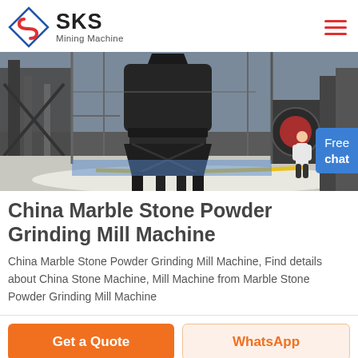SKS Mining Machine
[Figure (photo): Industrial mining mill machine in a large factory setting, large black vertical grinding mill with metal frame structure on a white gravel floor, factory interior with steel structures and equipment in background]
China Marble Stone Powder Grinding Mill Machine
China Marble Stone Powder Grinding Mill Machine, Find details about China Stone Machine, Mill Machine from Marble Stone Powder Grinding Mill Machine
[Figure (other): Two buttons: orange 'Get a Quote' button and light orange 'WhatsApp' button]